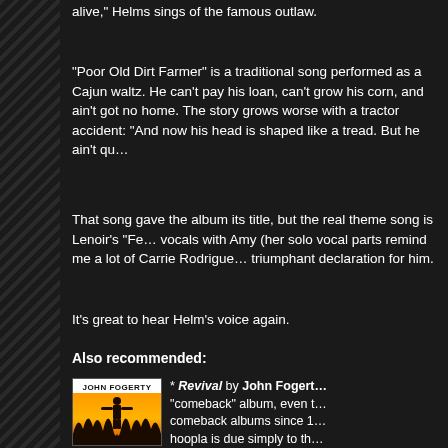alive," Helms sings of the famous outlaw.
"Poor Old Dirt Farmer" is a traditional song performed as a Cajun waltz. He can't pay his loan, can't grow his corn, and ain't got no home. The story grows worse with a tractor accident: "And now his head is shaped like a tread. But he ain't qu…
That song gave the album its title, but the real theme song is Lenoir's "Fe… vocals with Amy (her solo vocal parts remind me a lot of Carrie Rodrigue… triumphant declaration for him.
It's great to hear Helm's voice again.
Also recommended:
[Figure (illustration): Album cover for John Fogerty's Revival — orange background with black silhouette of a figure standing in a field, white header strip with JOHN FOGERTY text]
* Revival by John Fogert… "comeback" album, even t… comeback albums since 1… hoopla is due simply to th… fact that there's a song ca… It's true, Fogerty sounds a… Clearwater Revival here. H… like Creedence Clearwate… other members of the ban… …as singer, songwriter…